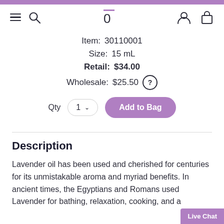Navigation bar with hamburger, search, cart (0), user, and bag icons
Item: 30110001
Size: 15 mL
Retail: $34.00
Wholesale: $25.50
Qty 1 — Add to Bag
Description
Lavender oil has been used and cherished for centuries for its unmistakable aroma and myriad benefits. In ancient times, the Egyptians and Romans used Lavender for bathing, relaxation, cooking, and as a perfume.